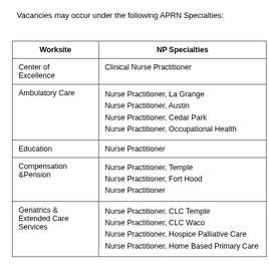Vacancies may occur under the following APRN Specialties:
| Worksite | NP Specialties |
| --- | --- |
| Center of Excellence | Clinical Nurse Practitioner |
| Ambulatory Care | Nurse Practitioner, La Grange
Nurse Practitioner, Austin
Nurse Practitioner, Cedar Park
Nurse Practitioner, Occupational Health |
| Education | Nurse Practitioner |
| Compensation &Pension | Nurse Practitioner, Temple
Nurse Practitioner, Fort Hood
Nurse Practitioner |
| Geriatrics & Extended Care Services | Nurse Practitioner, CLC Temple
Nurse Practitioner, CLC Waco
Nurse Practitioner, Hospice Palliative Care
Nurse Practitioner, Home Based Primary Care |